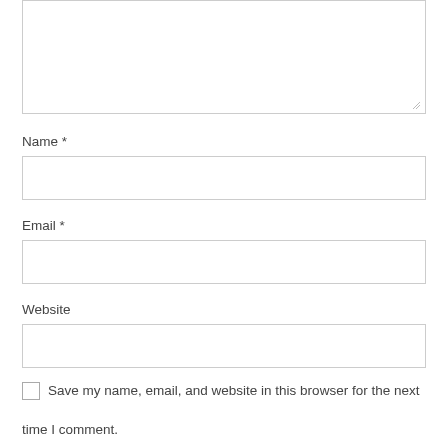[Figure (screenshot): Textarea input box (comment field), partially visible at top of page, with resize handle in bottom-right corner]
Name *
[Figure (screenshot): Name text input field, empty, with border]
Email *
[Figure (screenshot): Email text input field, empty, with border]
Website
[Figure (screenshot): Website text input field, empty, with border]
Save my name, email, and website in this browser for the next time I comment.